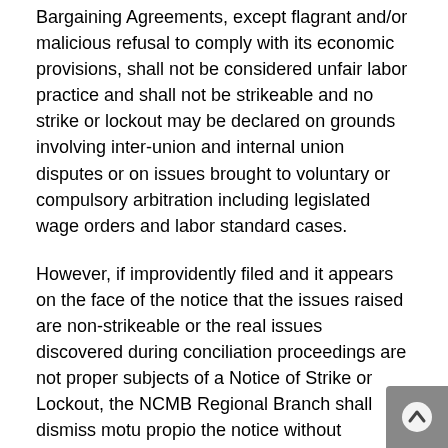Bargaining Agreements, except flagrant and/or malicious refusal to comply with its economic provisions, shall not be considered unfair labor practice and shall not be strikeable and no strike or lockout may be declared on grounds involving inter-union and internal union disputes or on issues brought to voluntary or compulsory arbitration including legislated wage orders and labor standard cases.
However, if improvidently filed and it appears on the face of the notice that the issues raised are non-strikeable or the real issues discovered during conciliation proceedings are not proper subjects of a Notice of Strike or Lockout, the NCMB Regional Branch shall dismiss motu propio the notice without prejudice to further conciliation, or upon the request of either or both parties, in which case, the Notice of Strike or Lockout is treated as a Preventive Mediation Case. (See Definition of Preventive Mediation Case under Appendix 3, Definition of Terms).